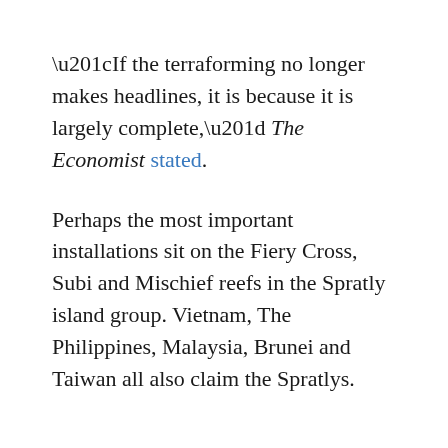“If the terraforming no longer makes headlines, it is because it is largely complete,” The Economist stated.
Perhaps the most important installations sit on the Fiery Cross, Subi and Mischief reefs in the Spratly island group. Vietnam, The Philippines, Malaysia, Brunei and Taiwan all also claim the Spratlys.
Between 2013 and 2016, huge construction vessels pulverized the reefs in order to create the raw materials for the bases. The dredger Tianjing